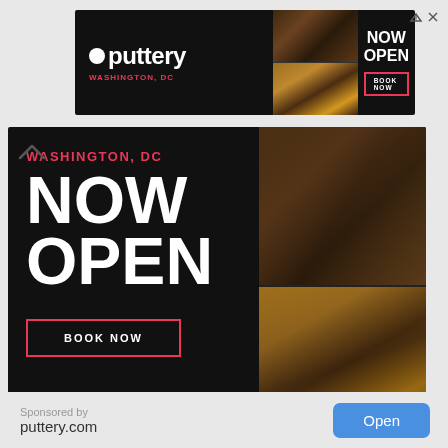[Figure (photo): Puttery Washington DC banner advertisement with logo, NOW OPEN text, BOOK NOW button, and food/dining photos]
[Figure (photo): Large Puttery Washington DC advertisement showing WASHINGTON DC, NOW OPEN in large text, BOOK NOW button, and photos of dining and pizza]
Sponsored by
puttery.com
Open